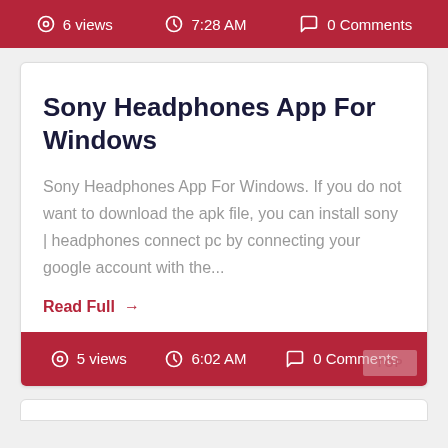6 views   7:28 AM   0 Comments
Sony Headphones App For Windows
Sony Headphones App For Windows. If you do not want to download the apk file, you can install sony | headphones connect pc by connecting your google account with the...
Read Full →
5 views   6:02 AM   0 Comments